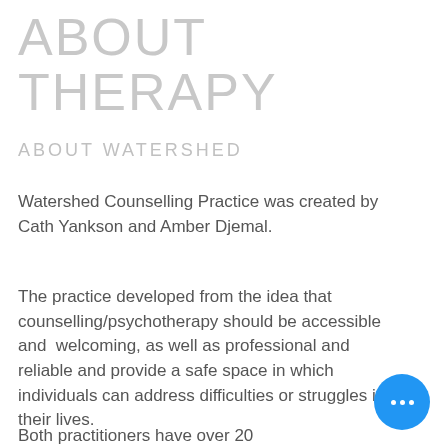ABOUT THERAPY
ABOUT WATERSHED
Watershed Counselling Practice was created by Cath Yankson and Amber Djemal.
The practice developed from the idea that counselling/psychotherapy should be accessible and welcoming, as well as professional and reliable and provide a safe space in which individuals can address difficulties or struggles in their lives.
Both practitioners have over 20